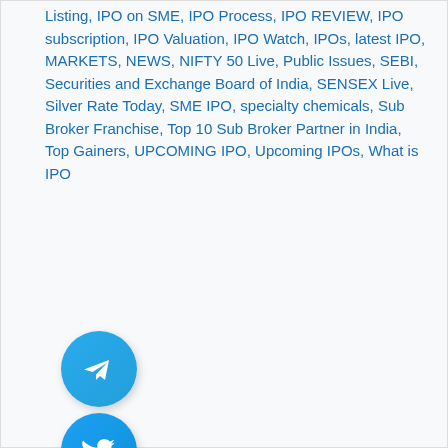Listing, IPO on SME, IPO Process, IPO REVIEW, IPO subscription, IPO Valuation, IPO Watch, IPOs, latest IPO, MARKETS, NEWS, NIFTY 50 Live, Public Issues, SEBI, Securities and Exchange Board of India, SENSEX Live, Silver Rate Today, SME IPO, specialty chemicals, Sub Broker Franchise, Top 10 Sub Broker Partner in India, Top Gainers, UPCOMING IPO, Upcoming IPOs, What is IPO
[Figure (illustration): Telegram app icon — blue circle with white paper plane icon]
[Figure (illustration): Twitter app icon — blue circle with white bird icon]
[Figure (illustration): Close/dismiss button — purple circle with white X icon]